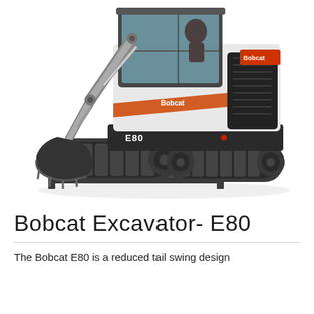[Figure (photo): Bobcat E80 compact excavator with rubber tracks, dozer blade at front, articulated arm with bucket on left side, enclosed cab with operator visible, white and black body with orange Bobcat branding, viewed from front-left angle]
Bobcat Excavator- E80
The Bobcat E80 is a reduced tail swing design